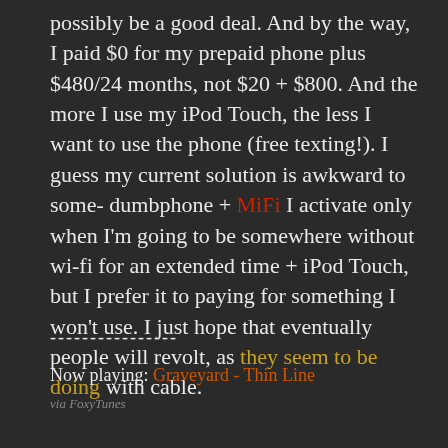possibly be a good deal. And by the way, I paid $0 for my prepaid phone plus $480/24 months, not $20 + $800. And the more I use my iPod Touch, the less I want to use the phone (free texting!). I guess my current solution is awkward to some- dumbphone + MiFi I activate only when I'm going to be somewhere without wi-fi for an extended time + iPod Touch, but I prefer it to paying for something I won't use. I just hope that eventually people will revolt, as they seem to be doing with cable.
----------------
Now playing: Graveyard - Thin Line
via FoxyTunes